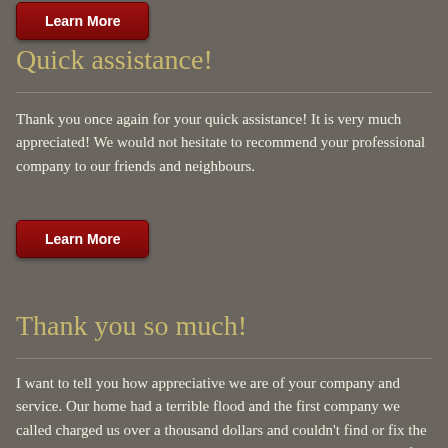[Figure (other): Red 'Learn More' button (partially visible at top of page)]
Quick assistance!
Thank you once again for your quick assistance! It is very much appreciated! We would not hesitate to recommend your professional company to our friends and neighbours.
[Figure (other): Red 'Learn More' button]
Thank you so much!
I want to tell you how appreciative we are of your company and service. Our home had a terrible flood and the first company we called charged us over a thousand dollars and couldn't find or fix the problem!. Modern Drainage was here within an hour, and gave a free assessment. Then the crew were here within half an hour and immediately went to work. They identified the problem and fixed it in